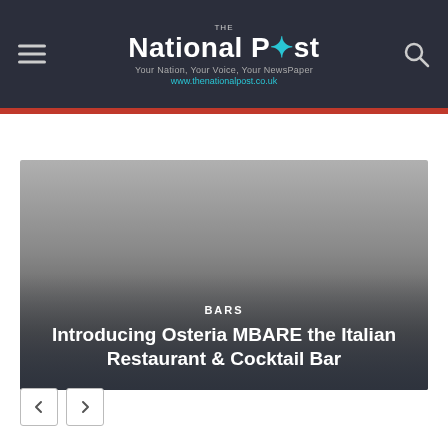The National Post — Your Nation, Your Voice, Your NewsPaper — www.thenationalpost.co.uk
[Figure (photo): Large hero image with gradient overlay, showing a dark atmospheric restaurant/bar setting. Category label 'BARS' and article title 'Introducing Osteria MBARE the Italian Restaurant & Cocktail Bar' overlaid at bottom.]
Introducing Osteria MBARE the Italian Restaurant & Cocktail Bar
BARS